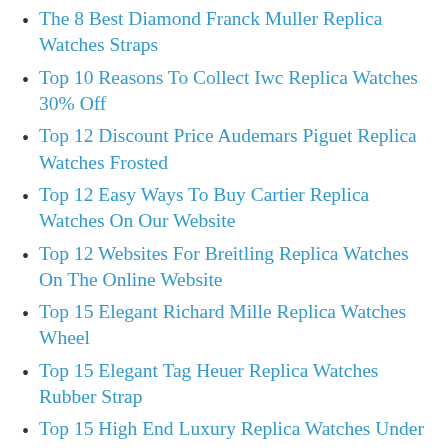The 8 Best Diamond Franck Muller Replica Watches Straps
Top 10 Reasons To Collect Iwc Replica Watches 30% Off
Top 12 Discount Price Audemars Piguet Replica Watches Frosted
Top 12 Easy Ways To Buy Cartier Replica Watches On Our Website
Top 12 Websites For Breitling Replica Watches On The Online Website
Top 15 Elegant Richard Mille Replica Watches Wheel
Top 15 Elegant Tag Heuer Replica Watches Rubber Strap
Top 15 High End Luxury Replica Watches Under $49